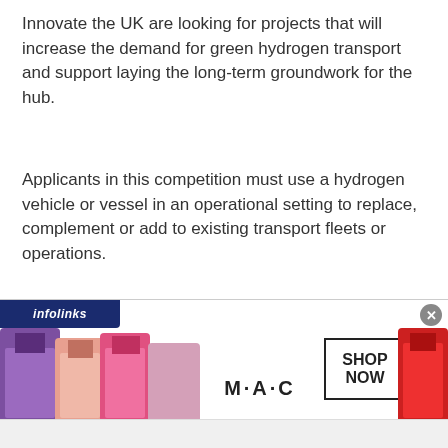Innovate the UK are looking for projects that will increase the demand for green hydrogen transport and support laying the long-term groundwork for the hub.
Applicants in this competition must use a hydrogen vehicle or vessel in an operational setting to replace, complement or add to existing transport fleets or operations.
Your projects must:
[Figure (other): Advertisement overlay from infolinks showing MAC cosmetics lipstick ad with 'SHOP NOW' button and partially visible text beneath the infolinks bar]